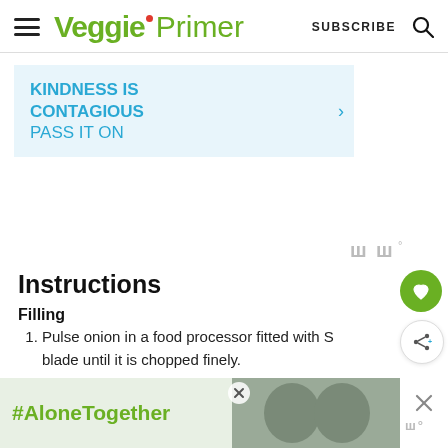Veggie Primer | SUBSCRIBE
[Figure (screenshot): Advertisement banner with light blue background. Bold teal text reads KINDNESS IS CONTAGIOUS with lighter teal PASS IT ON below. Right arrow visible on right edge.]
[Figure (other): Wibbly watermark logo in grey (wm degree symbol)]
Instructions
Filling
Pulse onion in a food processor fitted with S blade until it is chopped finely.
[Figure (screenshot): Bottom advertisement banner with green background showing #AloneTogether text and photo of two people waving, with close button.]